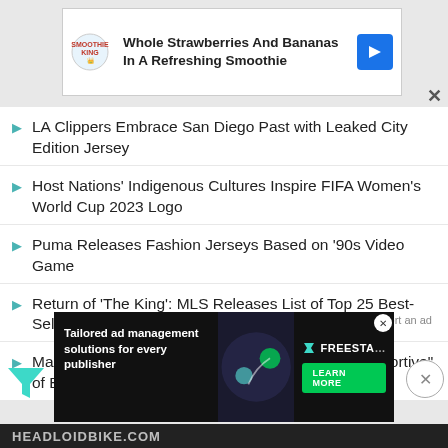[Figure (infographic): Advertisement banner: Smoothie King ad - 'Whole Strawberries And Bananas In A Refreshing Smoothie' with logo and blue arrow icon]
LA Clippers Embrace San Diego Past with Leaked City Edition Jersey
Host Nations’ Indigenous Cultures Inspire FIFA Women’s World Cup 2023 Logo
Puma Releases Fashion Jerseys Based on ’90s Video Game
Return of ‘The King’: MLS Releases List of Top 25 Best-Selling Jerseys for 2021 Season
Manfred: Native American Community “Wholly Supportive” of Braves Name, Logo, and “The Chop”
Report an ad
[Figure (infographic): Advertisement: Freestar - 'Tailored ad management solutions for every publisher' with a LEARN MORE button on dark background]